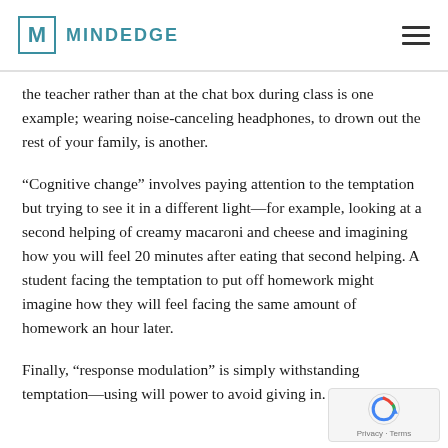MINDEDGE
the teacher rather than at the chat box during class is one example; wearing noise-canceling headphones, to drown out the rest of your family, is another.
“Cognitive change” involves paying attention to the temptation but trying to see it in a different light—for example, looking at a second helping of creamy macaroni and cheese and imagining how you will feel 20 minutes after eating that second helping. A student facing the temptation to put off homework might imagine how they will feel facing the same amount of homework an hour later.
Finally, “response modulation” is simply withstanding temptation—using will power to avoid giving in.